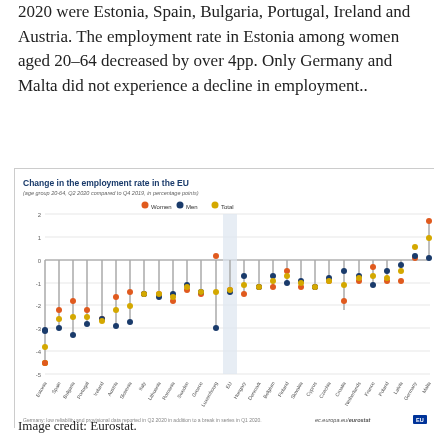2020 were Estonia, Spain, Bulgaria, Portugal, Ireland and Austria. The employment rate in Estonia among women aged 20-64 decreased by over 4pp. Only Germany and Malta did not experience a decline in employment..
[Figure (scatter-plot): Dot plot showing change in employment rate by country for Women, Men, and Total. Most countries show negative changes, with Estonia showing the largest decline for women (around -4.5pp). Germany and Malta show positive changes.]
Germany: low reliability and provisional data reported in Q2 2020 in addition to a break in series in Q1 2020.
Image credit: Eurostat.